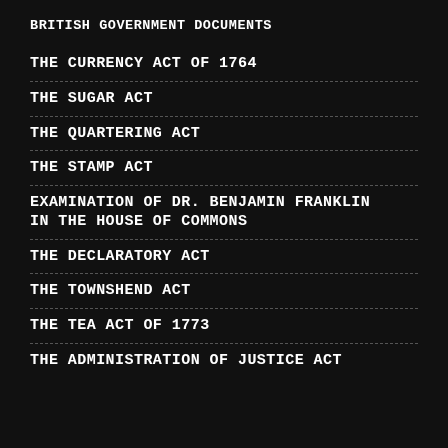BRITISH GOVERNMENT DOCUMENTS
THE CURRENCY ACT OF 1764
THE SUGAR ACT
THE QUARTERING ACT
THE STAMP ACT
EXAMINATION OF DR. BENJAMIN FRANKLIN IN THE HOUSE OF COMMONS
THE DECLARATORY ACT
THE TOWNSHEND ACT
THE TEA ACT OF 1773
THE ADMINISTRATION OF JUSTICE ACT